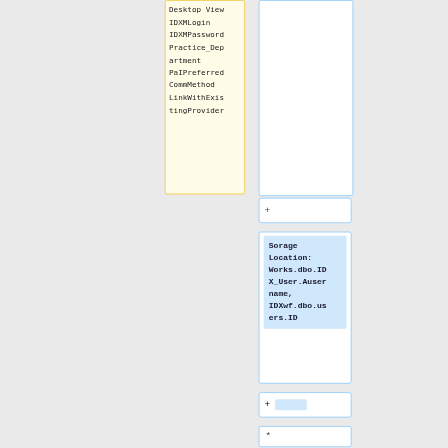[Figure (flowchart): A flowchart/schema diagram showing a yellow-bordered box containing field names (Desktop View, IDXMLogin, IDXMPassword, Practice_Department, PaIPreferred CommMethod, LinkWithExistingProvider), connected to blue-bordered boxes on the right. One blue box contains a highlighted storage location label: 'Sorage Location: Works.dbo.IDX_User.Ausername, IDXwf.dbo.users.ID'. Additional blue boxes with '+' connectors and a '*' box are shown below.]